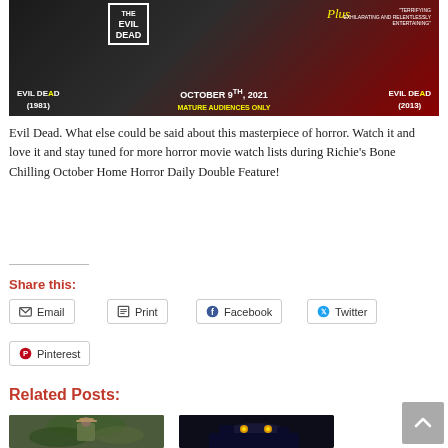[Figure (photo): Movie promotional banner for Evil Dead double feature. Shows Evil Dead (1981) and Evil Dead (2013) with text 'October 9th, 2021 Mature Audiences Only' in yellow. Dark background with red accent.]
Evil Dead. What else could be said about this masterpiece of horror. Watch it and love it and stay tuned for more horror movie watch lists during Richie's Bone Chilling October Home Horror Daily Double Feature!
Share this:
Email
Print
Facebook
Twitter
Pinterest
Related Posts:
[Figure (photo): Thumbnail image of a person in a hat outdoors in green vegetation]
[Figure (photo): Thumbnail image of a dark creature or demon with glowing eyes against a dark background]